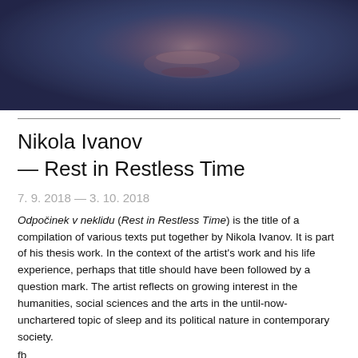[Figure (photo): Close-up portrait photograph of a person's face with dark blue-purple tones, showing mouth and lower face detail]
Nikola Ivanov — Rest in Restless Time
7. 9. 2018 — 3. 10. 2018
Odpočinek v neklidu (Rest in Restless Time) is the title of a compilation of various texts put together by Nikola Ivanov. It is part of his thesis work. In the context of the artist's work and his life experience, perhaps that title should have been followed by a question mark. The artist reflects on growing interest in the humanities, social sciences and the arts in the until-now-unchartered topic of sleep and its political nature in contemporary society.
fb